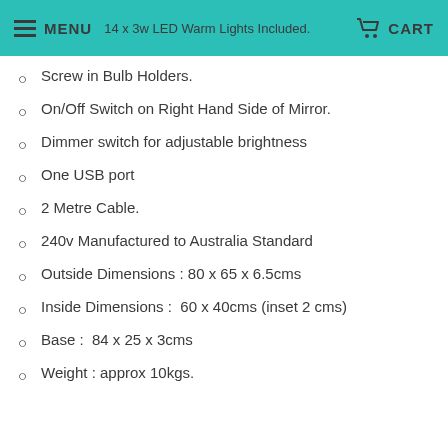MENU   14 x 3w LED Warm Lights Included.   CART
Screw in Bulb Holders.
On/Off Switch on Right Hand Side of Mirror.
Dimmer switch for adjustable brightness
One USB port
2 Metre Cable.
240v Manufactured to Australia Standard
Outside Dimensions : 80 x 65 x 6.5cms
Inside Dimensions :  60 x 40cms (inset 2 cms)
Base :  84 x 25 x 3cms
Weight : approx 10kgs.